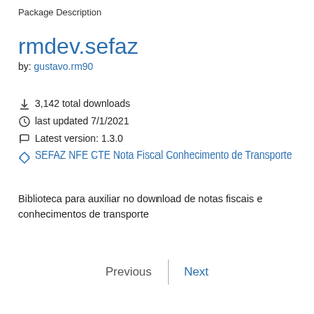Package Description
rmdev.sefaz
by: gustavo.rm90
↓ 3,142 total downloads
last updated 7/1/2021
Latest version: 1.3.0
SEFAZ NFE CTE Nota Fiscal Conhecimento de Transporte
Biblioteca para auxiliar no download de notas fiscais e conhecimentos de transporte
Previous
Next